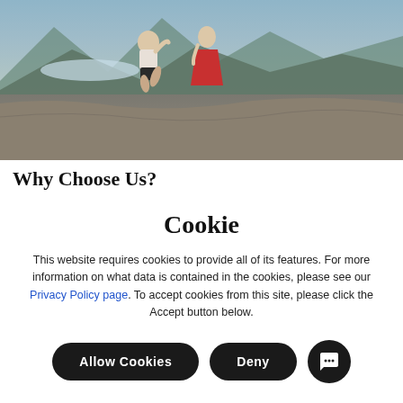[Figure (photo): A man kneeling on one knee proposing to a woman in a red dress on a rocky mountain summit with valley and mountains in the background]
Why Choose Us?
Cookie
This website requires cookies to provide all of its features. For more information on what data is contained in the cookies, please see our Privacy Policy page. To accept cookies from this site, please click the Accept button below.
Allow Cookies | Deny